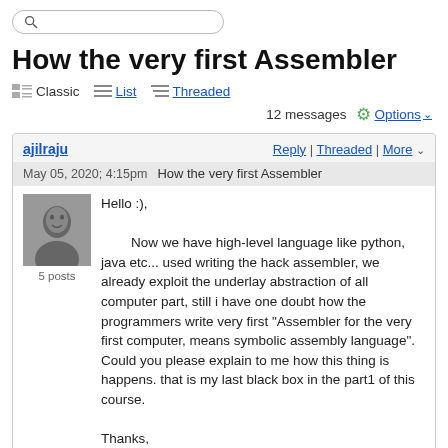How the very first Assembler
Classic  List  Threaded
12 messages  Options
ajilraju
May 05, 2020; 4:15pm   How the very first Assembler
Hello :),

        Now we have high-level language like python, java etc... used writing the hack assembler, we already exploit the underlay abstraction of all computer part, still i have one doubt how the programmers write very first "Assembler for the very first computer, means symbolic assembly language". Could you please explain to me how this thing is happens. that is my last black box in the part1 of this course.

Thanks,